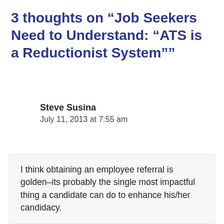3 thoughts on “Job Seekers Need to Understand: “ATS is a Reductionist System””
Steve Susina
July 11, 2013 at 7:55 am
I think obtaining an employee referral is golden–its probably the single most impactful thing a candidate can do to enhance his/her candidacy.
The point missed by many job seekers is they think they can secure the referral